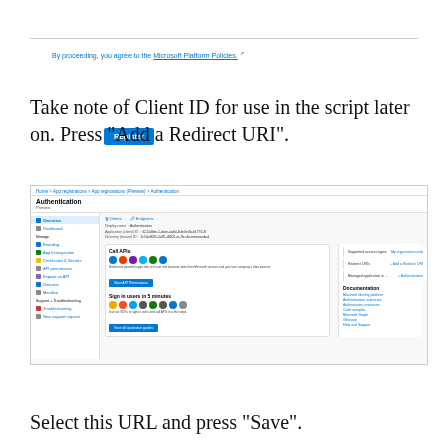[Figure (screenshot): Microsoft Azure App Registration Authentication page screenshot showing Register button and policy agreement link at top, with navigation sidebar, app details, Call APIs section, Documentation links, and Sign in users section]
By proceeding, you agree to the Microsoft Platform Policies.
Register
Take note of Client ID for use in the script later on. Press “Add a Redirect URI”.
[Figure (screenshot): Azure portal Authentication page showing breadcrumb navigation, sidebar with Overview, Dashboard, Manage section items, main area with app details and Call APIs card, and Documentation sidebar with links]
Select this URL and press “Save”.